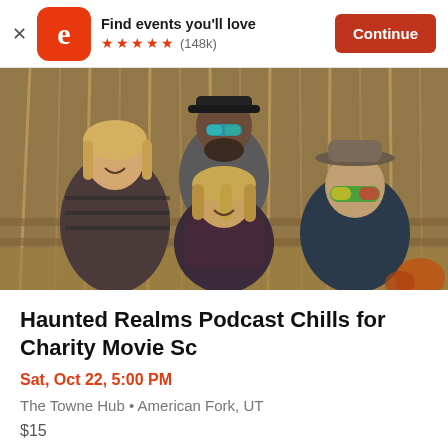Find events you'll love ★★★★★ (148k) Continue
[Figure (photo): A family of four posing outdoors in front of a dried corn stalk backdrop. A tall man with a beard and sunglasses sits at the back, a teenage girl with blonde hair on the left, a woman with blonde wavy hair in the center-front, and a boy wearing a cowboy hat and colorful mirrored sunglasses on the right.]
Haunted Realms Podcast Chills for Charity Movie Sc
Sat, Oct 22, 5:00 PM
The Towne Hub • American Fork, UT
$15